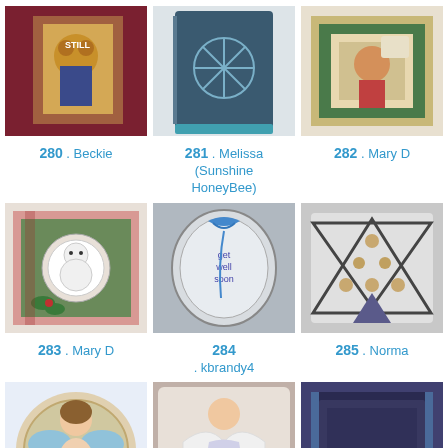[Figure (photo): Craft item 280 by Beckie]
280 . Beckie
[Figure (photo): Craft item 281 by Melissa (Sunshine HoneyBee)]
281 . Melissa (Sunshine HoneyBee)
[Figure (photo): Craft item 282 by Mary D]
282 . Mary D
[Figure (photo): Craft item 283 by Mary D]
283 . Mary D
[Figure (photo): Craft item 284 by kbrandy4]
284 . kbrandy4
[Figure (photo): Craft item 285 by Norma]
285 . Norma
[Figure (photo): Craft item 286 by Heaney]
286 . Heaney
[Figure (photo): Craft item 287 by Annette]
287 . Annette
[Figure (photo): Craft item 288 by Jo]
288 . Jo
[Figure (photo): Craft item 289]
289
[Figure (photo): Craft item 290]
290
[Figure (photo): Craft item 291 by Kati]
291 . Kati